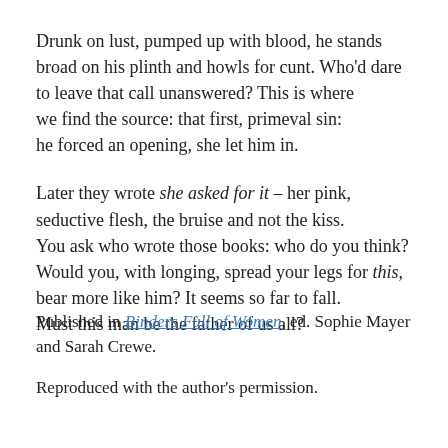Drunk on lust, pumped up with blood, he stands
broad on his plinth and howls for cunt. Who'd dare
to leave that call unanswered? This is where
we find the source: that first, primeval sin:
he forced an opening, she let him in.
Later they wrote she asked for it – her pink,
seductive flesh, the bruise and not the kiss.
You ask who wrote those books: who do you think?
Would you, with longing, spread your legs for this,
bear more like him? It seems so far to fall.
Must this man be the father of us all?
Published in Binders Full of Women, ed. Sophie Mayer and Sarah Crewe.
Reproduced with the author's permission.